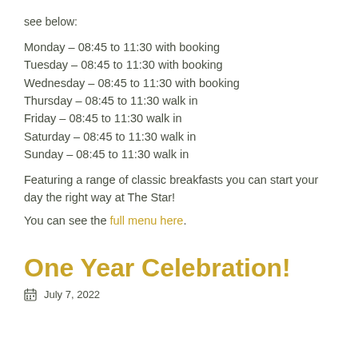see below:
Monday – 08:45 to 11:30 with booking
Tuesday – 08:45 to 11:30 with booking
Wednesday – 08:45 to 11:30 with booking
Thursday – 08:45 to 11:30 walk in
Friday – 08:45 to 11:30 walk in
Saturday – 08:45 to 11:30 walk in
Sunday – 08:45 to 11:30 walk in
Featuring a range of classic breakfasts you can start your day the right way at The Star!
You can see the full menu here.
One Year Celebration!
July 7, 2022